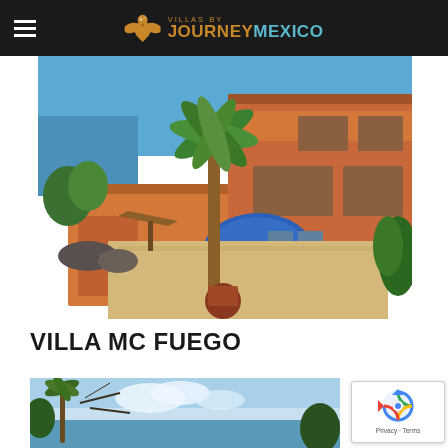Villas by Journey Mexico
[Figure (photo): Aerial/ground view of Villa MC Fuego — a terracotta-colored multi-level Mexican villa with a circular blue swimming pool in the courtyard, palm trees, ocean view in the background, outdoor patio with lounge chairs]
VILLA MC FUEGO
[Figure (photo): Partial view of another villa property with tropical vegetation, palm trees, and blue sky with clouds]
[Figure (other): reCAPTCHA widget showing rotating arrow icon with 'Privacy - Terms' text]